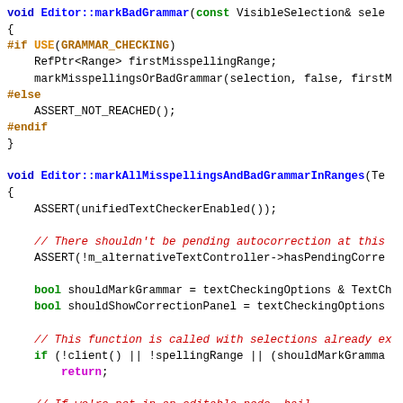[Figure (screenshot): Syntax-highlighted C++ source code showing two functions: Editor::markBadGrammar and Editor::markAllMisspellingsAndBadGrammarInRanges, with preprocessor directives, comments, and control flow statements.]